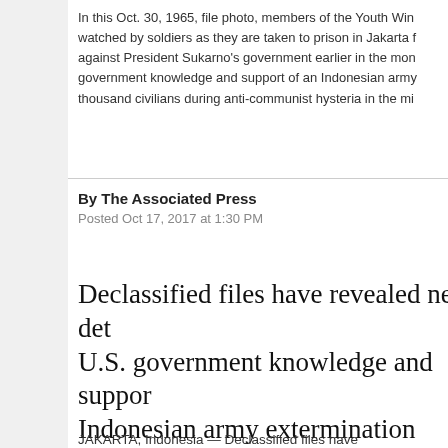In this Oct. 30, 1965, file photo, members of the Youth Wing watched by soldiers as they are taken to prison in Jakarta against President Sukarno's government earlier in the month. government knowledge and support of an Indonesian army thousand civilians during anti-communist hysteria in the mid-
By The Associated Press
Posted Oct 17, 2017 at 1:30 PM
Declassified files have revealed new details of U.S. government knowledge and support of an Indonesian army extermination campaign that killed several hundred thousand civilians during anti-communist hysteria in the mid-1960s.
JAKARTA, Indonesia — Declassified files have